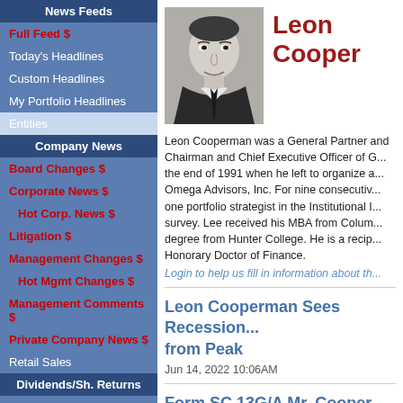News Feeds
Full Feed $
Today's Headlines
Custom Headlines
My Portfolio Headlines
Entities
Company News
Board Changes $
Corporate News $
Hot Corp. News $
Litigation $
Management Changes $
Hot Mgmt Changes $
Management Comments $
Private Company News $
Retail Sales
Dividends/Sh. Returns
Dividends $
Leon Cooper
[Figure (photo): Black and white headshot photo of Leon Cooperman]
Leon Cooperman was a General Partner and Chairman and Chief Executive Officer of Goldman Sachs Asset Management until the end of 1991 when he left to organize and establish Omega Advisors, Inc. For nine consecutive years, he was ranked as the number one portfolio strategist in the Institutional Investor magazine survey. Lee received his MBA from Columbia University and his degree from Hunter College. He is a recipient of Columbia's Honorary Doctor of Finance.
Login to help us fill in information about th...
Leon Cooperman Sees Recession... from Peak
Jun 14, 2022 10:06AM
Form SC 13G/A Mr. Cooper Grou... COOPERMAN LEON G
Mar 00, 0000 00:00PM